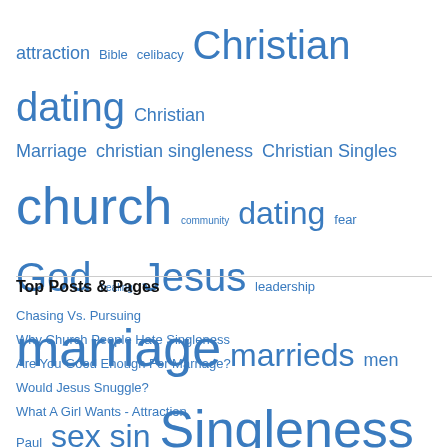[Figure (infographic): Tag cloud with words in varying sizes in blue: attraction, Bible, celibacy, Christian dating, Christian Marriage, christian singleness, Christian Singles, church, community, dating, fear, God, healing, Jesus, leadership, marriage, marrieds, men, Paul, sex, sin, Singleness, singles, The One, women]
Top Posts & Pages
Chasing Vs. Pursuing
Why Church People Hate Singleness
Are You Good Enough For Marriage?
Would Jesus Snuggle?
What A Girl Wants - Attraction